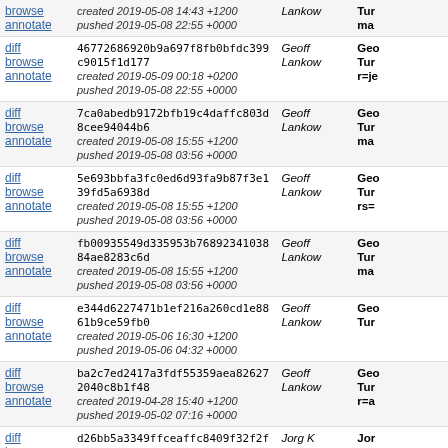| links | hash/dates | author | description |
| --- | --- | --- | --- |
| browse annotate | created 2019-05-08 14:43 +1200
pushed 2019-05-08 22:55 +0000 | Lankow | Tur ma |
| diff browse annotate | 46772686920b9a697f8fb0bfdc399c9015f1d177
created 2019-05-09 00:18 +0200
pushed 2019-05-08 22:55 +0000 | Geoff Lankow | Geo Tur r=je |
| diff browse annotate | 7ca0abedb9172bfb19c4daffc803d8cee94044b6
created 2019-05-08 15:55 +1200
pushed 2019-05-08 03:56 +0000 | Geoff Lankow | Geo Tur ma |
| diff browse annotate | 5e693bbfa3fc0ed6d93fa9b87f3e139fd5a6938d
created 2019-05-08 15:55 +1200
pushed 2019-05-08 03:56 +0000 | Geoff Lankow | Geo Tur rs= |
| diff browse annotate | fb00935549d335953b7689234103884ae8283c6d
created 2019-05-08 15:55 +1200
pushed 2019-05-08 03:56 +0000 | Geoff Lankow | Geo Tur ma |
| diff browse annotate | e344d6227471b1ef216a260cd1e8861b9ce59fb0
created 2019-05-06 16:30 +1200
pushed 2019-05-06 04:32 +0000 | Geoff Lankow | Geo Tur |
| diff browse annotate | ba2c7ed2417a3fdf55359aea826272040c8b1f48
created 2019-04-28 15:40 +1200
pushed 2019-05-02 07:16 +0000 | Geoff Lankow | Geo Tur r=a |
| diff browse annotate | d26bb5a3349ffceaffc8409f32f2f3023b873385
created 2019-04-29 20:37 +0200
pushed 2019-04-29 18:47 +0000 | Jorg K | Jor of c 151 sea |
| diff browse annotate | 635dddf89443cb9c5a0691865d6499ccf687f36c
created 2019-04-28 15:40 +1200
pushed 2019-04-28 20:37 +0000 | Geoff Lankow | Geo Tur r=a |
| diff | d99eabee0b1f2174b3cadcc5c6c9e5219e215f67 | Geoff | Ge |